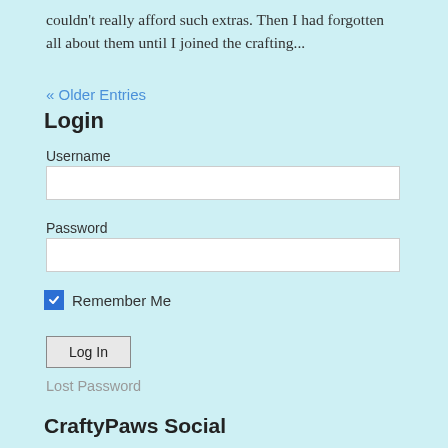couldn't really afford such extras.  Then I had forgotten all about them until I joined the crafting...
« Older Entries
Login
Username
Password
Remember Me
Log In
Lost Password
CraftyPaws Social